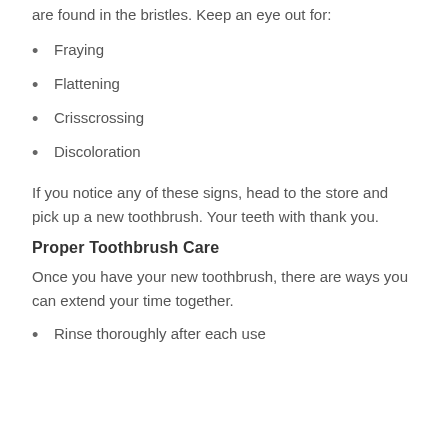are found in the bristles. Keep an eye out for:
Fraying
Flattening
Crisscrossing
Discoloration
If you notice any of these signs, head to the store and pick up a new toothbrush. Your teeth with thank you.
Proper Toothbrush Care
Once you have your new toothbrush, there are ways you can extend your time together.
Rinse thoroughly after each use